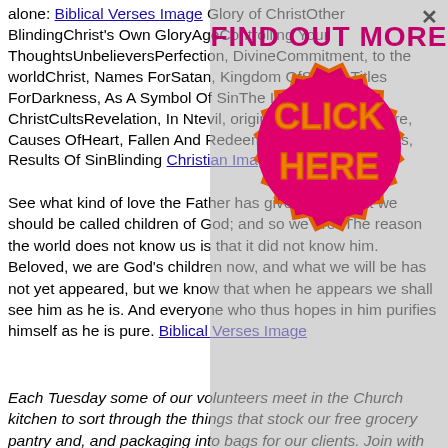alone: Biblical Verses Image Glory of ChristOther BlindingChrist's Own GloryAgeControlling Your ThoughtsUnbelieversPerfection, DivineCommitment, to the worldChrist, Names ForSatan, Kingdom OfSatan, Titles ForDarkness, As A Symbol Of SinThe Light Of ChristCultsRevelation, In Ntevil, origins ofSpiritual Warfare, Causes OfHeart, Fallen And RedeemedSpiritual Blindness, Results Of SinBlinding Christian Images
See what kind of love the Father has given to us, that we should be called children of God; and so we are. The reason the world does not know us is that it did not know him. Beloved, we are God's children now, and what we will be has not yet appeared, but we know that when he appears we shall be like him, because we shall see him as he is. And everyone who thus hopes in him purifies himself as he is pure. Biblical Verses Image
Each Tuesday some of our volunteers meet in the Church kitchen to sort through the things that stock our free grocery pantry and, and packaging into bags for our clients. Join with us once a month for two hours to make a difference. It's a wonderful opportunity to serve. Contact Jane Coulter at jwcoulter@gma...
So, who are the best gospel artists? The list of gospel artists has to
[Figure (infographic): A popup advertisement overlay with a gray semi-transparent background. At the top is bold magenta text reading 'FIND OUT MORE'. Below is a large pink/magenta gear-shaped badge with orange text reading 'CLICK HERE' in large letters. There is a close (X) button in the top-right corner of the overlay.]